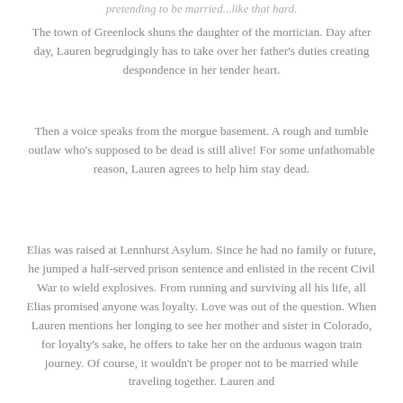pretending to be married...like that hard.
The town of Greenlock shuns the daughter of the mortician. Day after day, Lauren begrudgingly has to take over her father's duties creating despondence in her tender heart.
Then a voice speaks from the morgue basement. A rough and tumble outlaw who's supposed to be dead is still alive! For some unfathomable reason, Lauren agrees to help him stay dead.
Elias was raised at Lennhurst Asylum. Since he had no family or future, he jumped a half-served prison sentence and enlisted in the recent Civil War to wield explosives. From running and surviving all his life, all Elias promised anyone was loyalty. Love was out of the question. When Lauren mentions her longing to see her mother and sister in Colorado, for loyalty's sake, he offers to take her on the arduous wagon train journey. Of course, it wouldn't be proper not to be married while traveling together. Lauren and